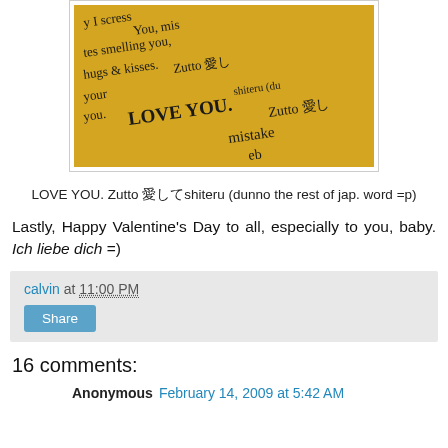[Figure (photo): Photo of a handwritten letter on yellow paper with text including 'LOVE YOU. Zutto shiteru' and 'mistake']
LOVE YOU. Zutto 愛してshiteru (dunno the rest of jap. word =p)
Lastly, Happy Valentine's Day to all, especially to you, baby. Ich liebe dich =)
calvin at 11:00 PM
Share
16 comments:
Anonymous February 14, 2009 at 5:42 AM